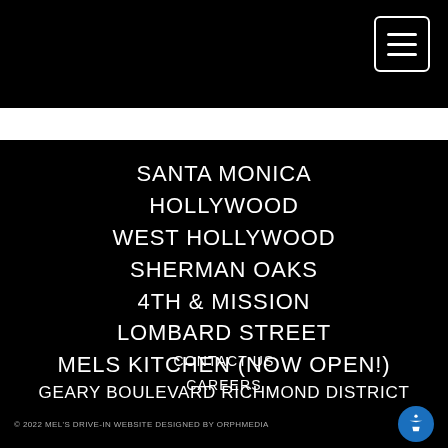[Figure (screenshot): Mobile website navigation menu for Mel's Drive-In restaurant with hamburger menu icon in top right on black background, white strip, and list of locations]
SANTA MONICA
HOLLYWOOD
WEST HOLLYWOOD
SHERMAN OAKS
4TH & MISSION
LOMBARD STREET
MELS KITCHEN (NOW OPEN!)
GEARY BOULEVARD RICHMOND DISTRICT
CONTACT US
CAREERS
ACCESSIBILITY
© 2022 MEL'S DRIVE-IN WEBSITE DESIGNED BY ORPHMEDIA